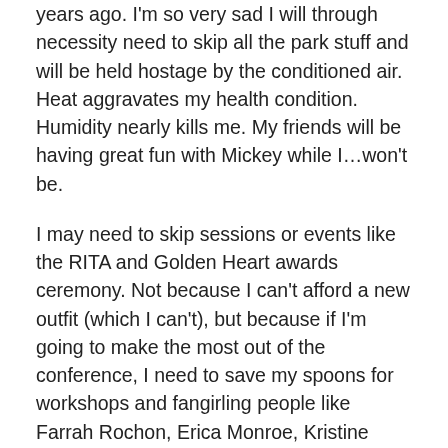years ago. I'm so very sad I will through necessity need to skip all the park stuff and will be held hostage by the conditioned air. Heat aggravates my health condition. Humidity nearly kills me. My friends will be having great fun with Mickey while I…won't be.
I may need to skip sessions or events like the RITA and Golden Heart awards ceremony. Not because I can't afford a new outfit (which I can't), but because if I'm going to make the most out of the conference, I need to save my spoons for workshops and fangirling people like Farrah Rochon, Erica Monroe, Kristine Wyllys, Kimberly Fisk (who is also going to be my awesome roommate), and everyone else I read and stalk follow on Twitter. If a morning is difficult, I'll have to make the difficult decision to skip workshops or meet ups. If a migraine is coming on, I'll need to hide in my room for a while. If the fibromyalgia is